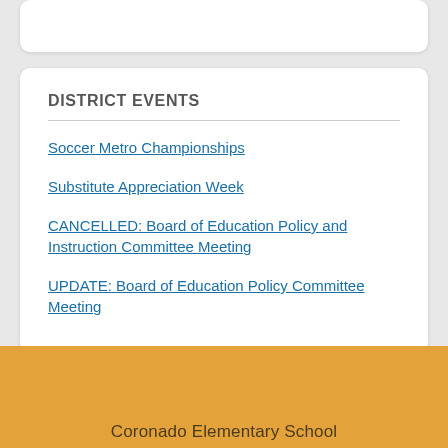DISTRICT EVENTS
Soccer Metro Championships
Substitute Appreciation Week
CANCELLED: Board of Education Policy and Instruction Committee Meeting
UPDATE: Board of Education Policy Committee Meeting
Coronado Elementary School